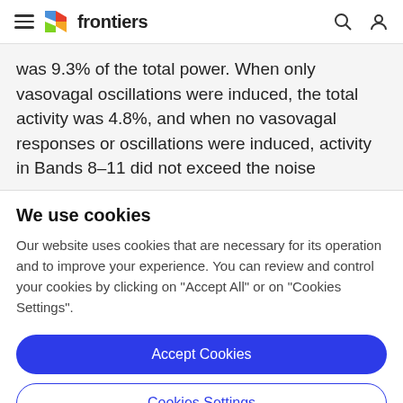frontiers
was 9.3% of the total power. When only vasovagal oscillations were induced, the total activity was 4.8%, and when no vasovagal responses or oscillations were induced, activity in Bands 8–11 did not exceed the noise
We use cookies
Our website uses cookies that are necessary for its operation and to improve your experience. You can review and control your cookies by clicking on "Accept All" or on "Cookies Settings".
Accept Cookies
Cookies Settings